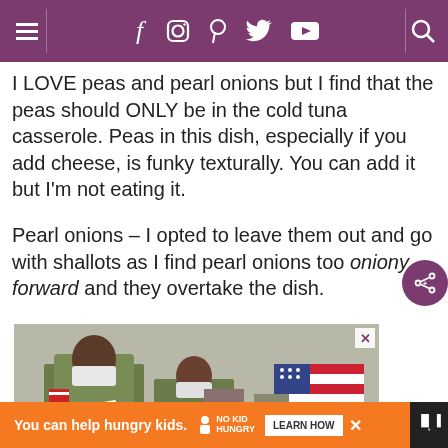Navigation bar with hamburger menu, social icons (Facebook, Instagram, Pinterest, Twitter, YouTube), and search icon
I LOVE peas and pearl onions but I find that the peas should ONLY be in the cold tuna casserole. Peas in this dish, especially if you add cheese, is funky texturally. You can add it but I'm not eating it.
Pearl onions – I opted to leave them out and go with shallots as I find pearl onions too oniony forward and they overtake the dish.
[Figure (photo): Advertisement photo showing military personnel in camouflage uniforms and masks reviewing paperwork, with an American flag visible in the background]
You can help hungry kids. NO KID HUNGRY LEARN HOW